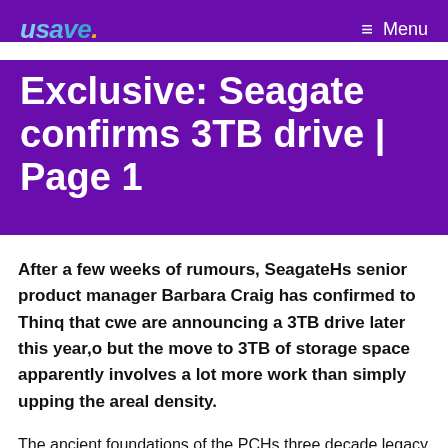usave. Menu
Exclusive: Seagate confirms 3TB drive | Page 1
After a few weeks of rumours, SeagateHs senior product manager Barbara Craig has confirmed to Thinq that cwe are announcing a 3TB drive later this year,o but the move to 3TB of storage space apparently involves a lot more work than simply upping the areal density.
The ancient foundations of the PCHs three decade legacy